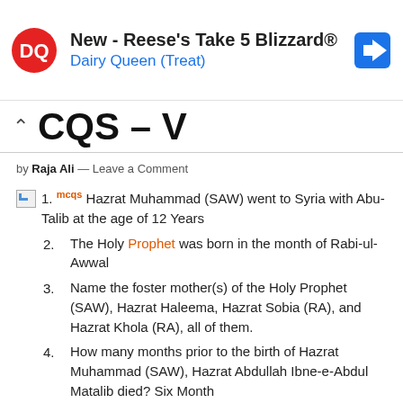[Figure (other): Dairy Queen advertisement banner with DQ logo, text 'New - Reese's Take 5 Blizzard® Dairy Queen (Treat)', and a blue navigation arrow icon]
CQS – V
by Raja Ali — Leave a Comment
1. Hazrat Muhammad (SAW) went to Syria with Abu-Talib at the age of 12 Years
2. The Holy Prophet was born in the month of Rabi-ul-Awwal
3. Name the foster mother(s) of the Holy Prophet (SAW), Hazrat Haleema, Hazrat Sobia (RA), and Hazrat Khola (RA), all of them.
4. How many months prior to the birth of Hazrat Muhammad (SAW), Hazrat Abdullah Ibne-e-Abdul Matalib died? Six Month